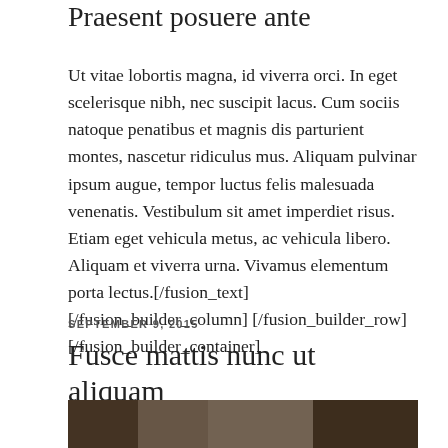Praesent posuere ante
Ut vitae lobortis magna, id viverra orci. In eget scelerisque nibh, nec suscipit lacus. Cum sociis natoque penatibus et magnis dis parturient montes, nascetur ridiculus mus. Aliquam pulvinar ipsum augue, tempor luctus felis malesuada venenatis. Vestibulum sit amet imperdiet risus. Etiam eget vehicula metus, ac vehicula libero. Aliquam et viverra urna. Vivamus elementum porta lectus.[/fusion_text][/fusion_builder_column] [/fusion_builder_row][/fusion_builder_container]
SEPTEMBER 9, 2015
Fusce mattis nunc ut aliquam
[Figure (photo): Photo of a woman wearing a hat, smiling, in what appears to be a shop with artwork on the walls]